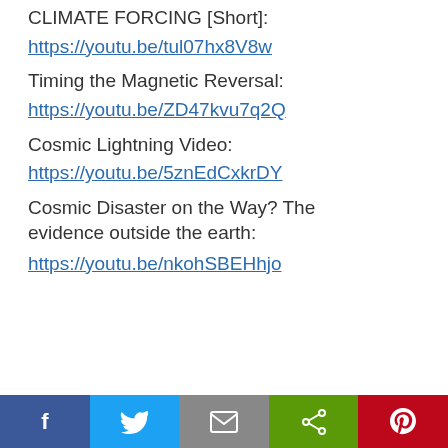CLIMATE FORCING [Short]:
https://youtu.be/tul07hx8V8w
Timing the Magnetic Reversal:
https://youtu.be/ZD47kvu7q2Q
Cosmic Lightning Video:
https://youtu.be/5znEdCxkrDY
Cosmic Disaster on the Way? The evidence outside the earth:
https://youtu.be/nkohSBEHhjo
f  🐦  ✉  ⋘  ⓟ